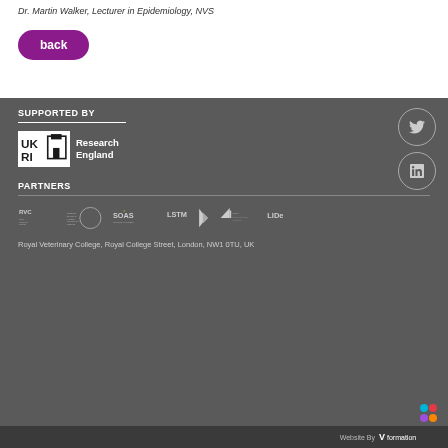Dr. Martin Walker, Lecturer in Epidemiology, NVS
[Figure (other): Purple rounded back button]
SUPPORTED BY
[Figure (logo): UKRI Research England logo]
[Figure (other): Twitter social media icon circle]
[Figure (other): LinkedIn social media icon circle]
PARTNERS
[Figure (logo): Partner logos: RVC, London School of Hygiene and Tropical Medicine, SOAS University of London, LSTM, LIDC and others]
Royal Veterinary College, Royal College Street, London, NW1 0TU, UK
[Figure (logo): Colorful dot grid logo top right of footer]
Website By V formation